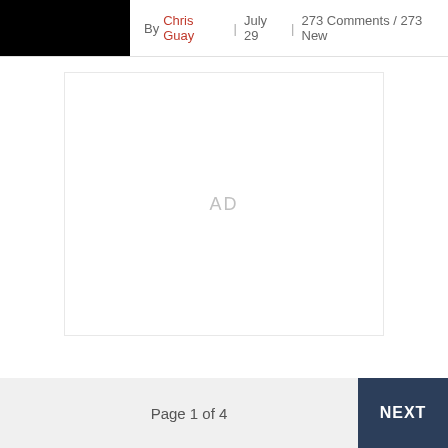[Figure (photo): Black rectangle image placeholder in top-left header area]
By Chris Guay | July 29 | 273 Comments / 273 New
[Figure (other): Advertisement placeholder box with 'AD' text centered]
Page 1 of 4  NEXT